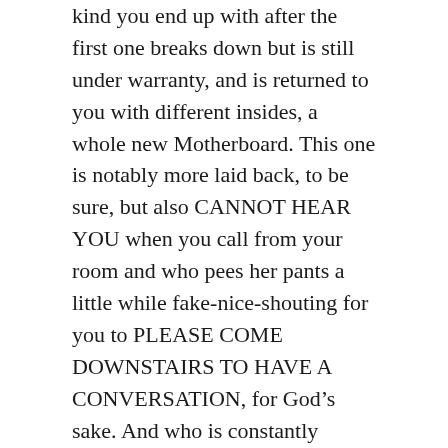kind you end up with after the first one breaks down but is still under warranty, and is returned to you with different insides, a whole new Motherboard. This one is notably more laid back, to be sure, but also CANNOT HEAR YOU when you call from your room and who pees her pants a little while fake-nice-shouting for you to PLEASE COME DOWNSTAIRS TO HAVE A CONVERSATION, for God’s sake. And who is constantly interrupting you to ask, “Is anyone else in this house hot??”
This one knows that it is much too late in the school year to admit that she does not actually know what home room you are in, and keeps forgetting to log in to check your online report card. Though she claims publicly that this is intentional, and might loftily declare that it is because she understands that your grades are yours and